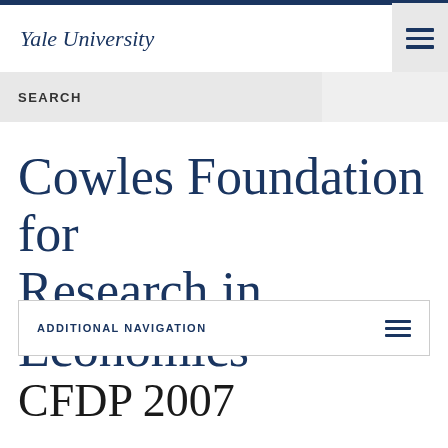Yale University
SEARCH
Cowles Foundation for Research in Economics
ADDITIONAL NAVIGATION
CFDP 2007